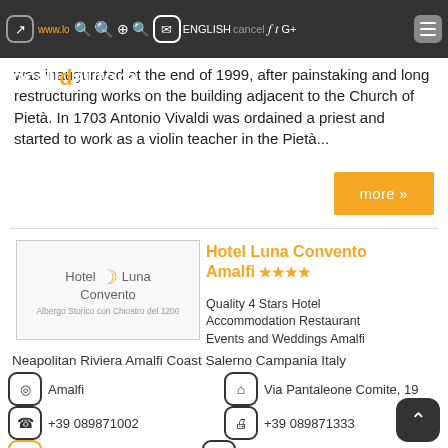localidautore — www.localidautore.it — ENGLISH — Google+ — Facebook — Twitter
was inaugurated at the end of 1999, after painstaking and long restructuring works on the building adjacent to the Church of Pietà. In 1703 Antonio Vivaldi was ordained a priest and started to work as a violin teacher in the Pietà...
more »
[Figure (logo): Hotel Luna Convento logo with crescent moon and text 'Albergo Storico con Chiostro del 1200']
Hotel Luna Convento Amalfi ★★★★
Quality 4 Stars Hotel Accommodation Restaurant Events and Weddings Amalfi Neapolitan Riviera Amalfi Coast Salerno Campania Italy
Amalfi
Via Pantaleone Comite, 19
+39 089871002
+39 089871333
www.lunahotel.it
info@lunahotel.it